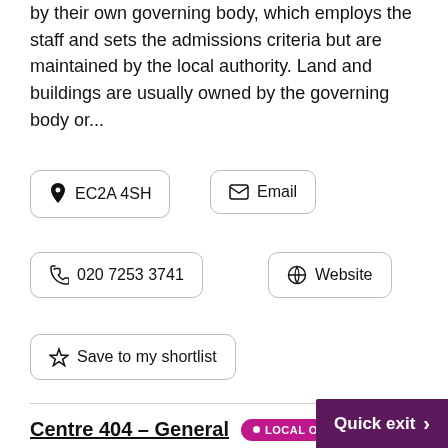by their own governing body, which employs the staff and sets the admissions criteria but are maintained by the local authority. Land and buildings are usually owned by the governing body or...
EC2A 4SH
Email
020 7253 3741
Website
Save to my shortlist
Centre 404 – General • LOCAL OFFER
Learning and Leisure opening times: Monday to Friday, 9am to weekend clubs. Please see the website